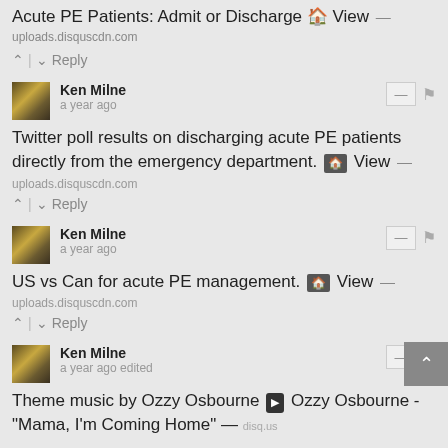Acute PE Patients: Admit or Discharge 🏛 View —
uploads.disquscdn.com
↑ | ↓ Reply
Ken Milne • a year ago
Twitter poll results on discharging acute PE patients directly from the emergency department. 🏛 View —
uploads.disquscdn.com
↑ | ↓ Reply
Ken Milne • a year ago
US vs Can for acute PE management. 🏛 View —
uploads.disquscdn.com
↑ | ↓ Reply
Ken Milne • a year ago edited
Theme music by Ozzy Osbourne ▶ Ozzy Osbourne - "Mama, I'm Coming Home" — disq.us